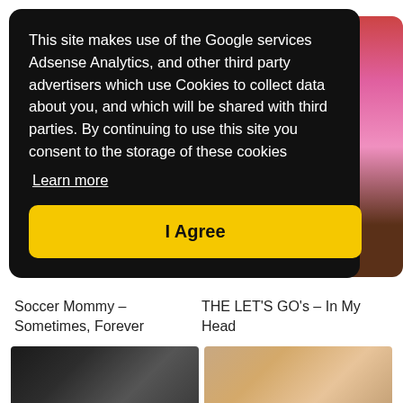This site makes use of the Google services Adsense Analytics, and other third party advertisers which use Cookies to collect data about you, and which will be shared with third parties. By continuing to use this site you consent to the storage of these cookies
Learn more
I Agree
Soccer Mommy – Sometimes, Forever
THE LET'S GO's – In My Head
[Figure (photo): Black and white photo of a person looking upward]
[Figure (photo): Color photo of a woman against a warm beige background]